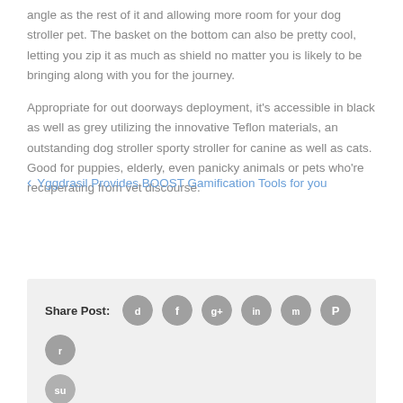angle as the rest of it and allowing more room for your dog stroller pet. The basket on the bottom can also be pretty cool, letting you zip it as much as shield no matter you is likely to be bringing along with you for the journey.
Appropriate for out doorways deployment, it's accessible in black as well as grey utilizing the innovative Teflon materials, an outstanding dog stroller sporty stroller for canine as well as cats. Good for puppies, elderly, even panicky animals or pets who're recuperating from vet discourse.
[Figure (infographic): Share Post section with social media icons: Digg, Facebook, Google+, LinkedIn, MySpace, Pinterest, Reddit, StumbleUpon]
< Yggdrasil Provides BOOST Gamification Tools for you